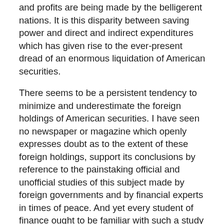and profits are being made by the belligerent nations. It is this disparity between saving power and direct and indirect expenditures which has given rise to the ever-present dread of an enormous liquidation of American securities.
There seems to be a persistent tendency to minimize and underestimate the foreign holdings of American securities. I have seen no newspaper or magazine which openly expresses doubt as to the extent of these foreign holdings, support its conclusions by reference to the painstaking official and unofficial studies of this subject made by foreign governments and by financial experts in times of peace. And yet every student of finance ought to be familiar with such a study as that made by Sir George Paish for our National Monetary Commission in 1909, if not with the original sources from which he drew his information. Five years ago. Sir George, in his scholarly study "The Trade Balance of the United States," declared: